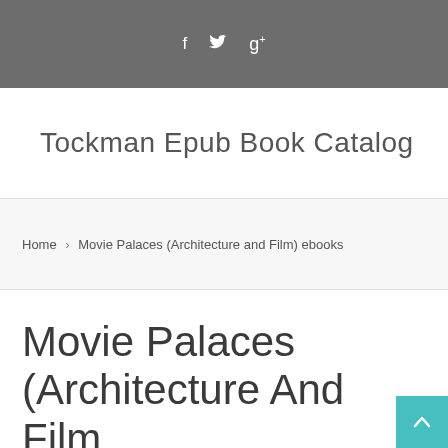f  ❧  g+
Tockman Epub Book Catalog
Home › Movie Palaces (Architecture and Film) ebooks
Movie Palaces (Architecture And Film…